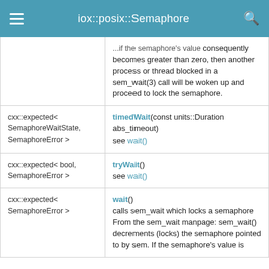iox::posix::Semaphore
| Return type | Method |
| --- | --- |
|  | ...if the semaphore's value consequently becomes greater than zero, then another process or thread blocked in a sem_wait(3) call will be woken up and proceed to lock the semaphore. |
| cxx::expected< SemaphoreWaitState, SemaphoreError > | timedWait(const units::Duration abs_timeout)
see wait() |
| cxx::expected< bool, SemaphoreError > | tryWait()
see wait() |
| cxx::expected< SemaphoreError > | wait()
calls sem_wait which locks a semaphore From the sem_wait manpage: sem_wait() decrements (locks) the semaphore pointed to by sem. If the semaphore's value is... |